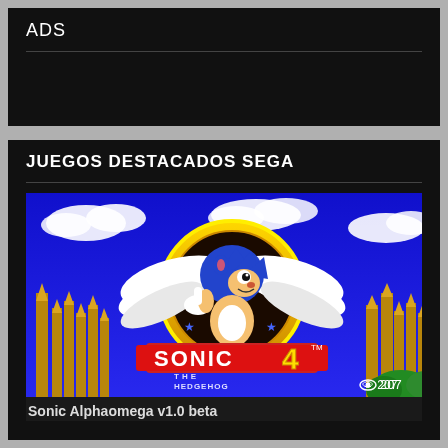ADS
JUEGOS DESTACADOS SEGA
[Figure (screenshot): Sonic the Hedgehog 4 title screen showing Sonic character with wings and golden ring, blue sky background with clouds]
Sonic Alphaomega v1.0 beta